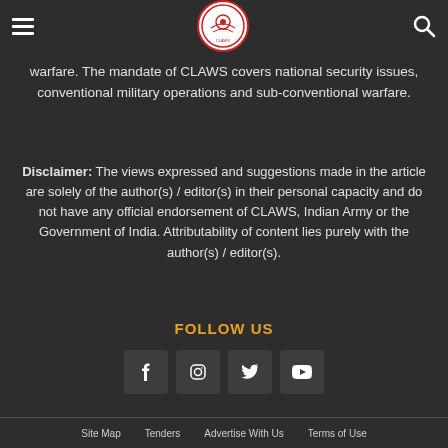CLAWS logo and navigation header
warfare. The mandate of CLAWS covers national security issues, conventional military operations and sub-conventional warfare.
Disclaimer: The views expressed and suggestions made in the article are solely of the author(s) / editor(s) in their personal capacity and do not have any official endorsement of CLAWS, Indian Army or the Government of India. Attributability of content lies purely with the author(s) / editor(s).
FOLLOW US
[Figure (infographic): Four social media icon buttons: Facebook, Instagram, Twitter, YouTube]
Site Map   Tenders   Advertise With Us   Terms of Use